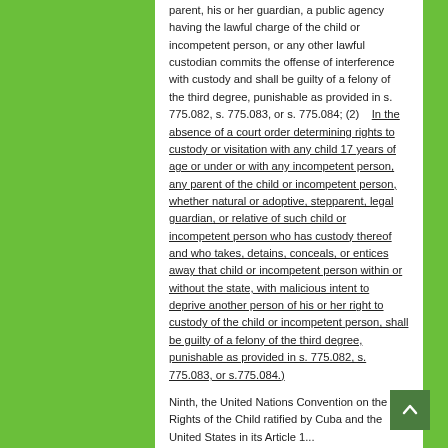parent, his or her guardian, a public agency having the lawful charge of the child or incompetent person, or any other lawful custodian commits the offense of interference with custody and shall be guilty of a felony of the third degree, punishable as provided in s. 775.082, s. 775.083, or s. 775.084; (2)   In the absence of a court order determining rights to custody or visitation with any child 17 years of age or under or with any incompetent person, any parent of the child or incompetent person, whether natural or adoptive, stepparent, legal guardian, or relative of such child or incompetent person who has custody thereof and who takes, detains, conceals, or entices away that child or incompetent person within or without the state, with malicious intent to deprive another person of his or her right to custody of the child or incompetent person, shall be guilty of a felony of the third degree, punishable as provided in s. 775.082, s. 775.083, or s.775.084.)
Ninth, the United Nations Convention on the Rights of the Child ratified by Cuba and the United States in its Article 1 ...